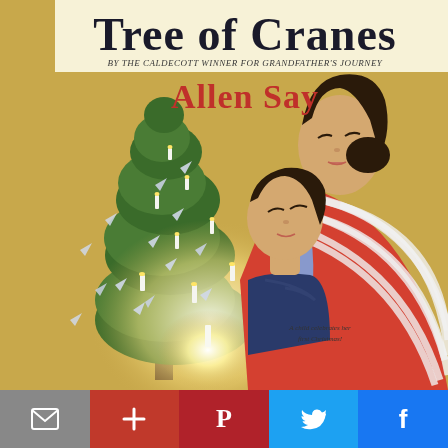[Figure (illustration): Book cover of 'Tree of Cranes' by Allen Say. Shows a Japanese mother in a red and white striped kimono holding a young boy in a dark blue kimono, both looking at a pine tree decorated with origami cranes and lit candles. The background is golden/yellow. Title 'Tree of Cranes' appears at top in dark letters, subtitle 'By the Caldecott Winner for Grandfather's Journey' in smaller italic text, and 'Allen Say' in large red letters.]
[Figure (infographic): Social sharing toolbar with five buttons: email (envelope icon, gray), plus/add (dark red), Pinterest (P icon, red), Twitter (bird icon, light blue), Facebook (f icon, dark blue).]